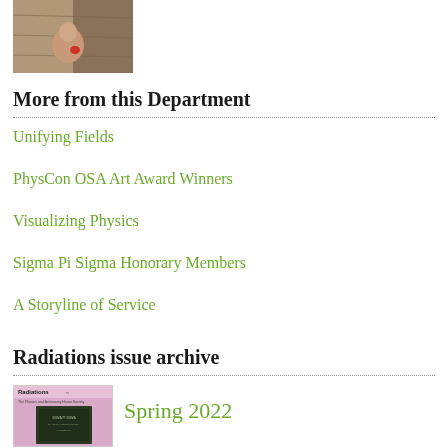[Figure (photo): Partial photo of a person viewed from above on a wooden surface]
More from this Department
Unifying Fields
PhysCon OSA Art Award Winners
Visualizing Physics
Sigma Pi Sigma Honorary Members
A Storyline of Service
Radiations issue archive
[Figure (photo): Cover of Radiations magazine Spring 2022 issue with pink background and a plaque image]
Spring 2022